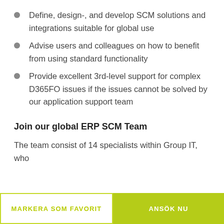Define, design-, and develop SCM solutions and integrations suitable for global use
Advise users and colleagues on how to benefit from using standard functionality
Provide excellent 3rd-level support for complex D365FO issues if the issues cannot be solved by our application support team
Join our global ERP SCM Team
The team consist of 14 specialists within Group IT, who
MARKERA SOM FAVORIT
ANSÖK NU